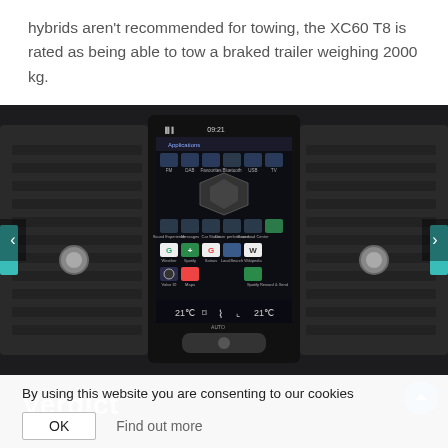hybrids aren't recommended for towing, the XC60 T8 is rated as being able to tow a braked trailer weighing 2000 kg.
[Figure (photo): Interior photo of a Volvo XC60 showing the central touchscreen infotainment system displaying an app grid (Applications screen at 09:21), flanked by HVAC vents with chrome knobs. Navigation arrows visible on left and right edges.]
By using this website you are consenting to our cookies
OK   Find out more
Verdict
A mid-size crossover that's handsome, luxurious...